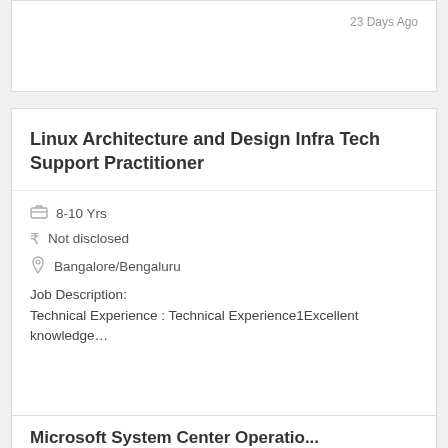23 Days Ago
Linux Architecture and Design Infra Tech Support Practitioner
8-10 Yrs
Not disclosed
Bangalore/Bengaluru
Job Description:
Technical Experience : Technical Experience1Excellent knowledge…
23 Days Ago
Microsoft System Center Operations